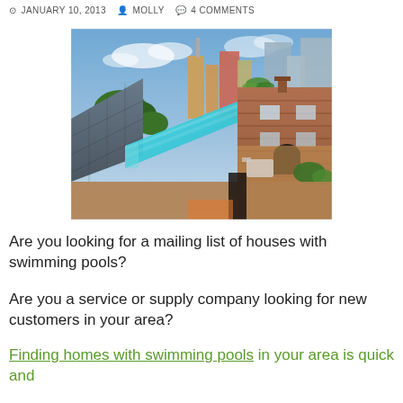JANUARY 10, 2013   MOLLY   4 COMMENTS
[Figure (photo): Aerial view of a rooftop infinity swimming pool between urban buildings and brick terraced houses, with city skyline and palm trees in background.]
Are you looking for a mailing list of houses with swimming pools?
Are you a service or supply company looking for new customers in your area?
Finding homes with swimming pools in your area is quick and